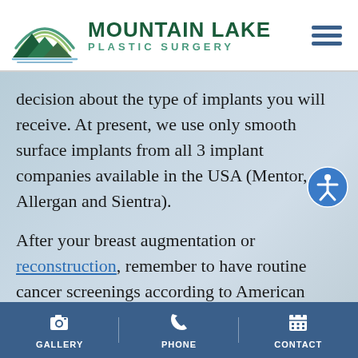[Figure (logo): Mountain Lake Plastic Surgery logo with mountain/lake landscape icon and text]
decision about the type of implants you will receive. At present, we use only smooth surface implants from all 3 implant companies available in the USA (Mentor, Allergan and Sientra).
After your breast augmentation or reconstruction, remember to have routine cancer screenings according to American
GALLERY | PHONE | CONTACT